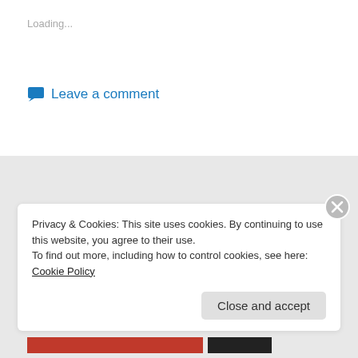Loading...
Leave a comment
SUBSCRIPTION IT
Enter your email address to follow this blog and
Privacy & Cookies: This site uses cookies. By continuing to use this website, you agree to their use.
To find out more, including how to control cookies, see here: Cookie Policy
Close and accept